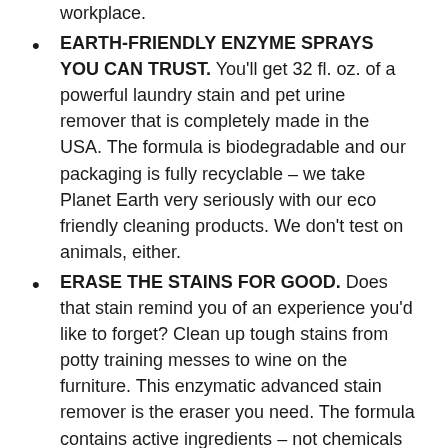workplace.
EARTH-FRIENDLY ENZYME SPRAYS YOU CAN TRUST. You'll get 32 fl. oz. of a powerful laundry stain and pet urine remover that is completely made in the USA. The formula is biodegradable and our packaging is fully recyclable – we take Planet Earth very seriously with our eco friendly cleaning products. We don't test on animals, either.
ERASE THE STAINS FOR GOOD. Does that stain remind you of an experience you'd like to forget? Clean up tough stains from potty training messes to wine on the furniture. This enzymatic advanced stain remover is the eraser you need. The formula contains active ingredients – not chemicals – that break down stains and remove them for good.
USE ON ALL WATER-SAFE FABRICS AND SURFACES. You can use this home and pet cleaner spray